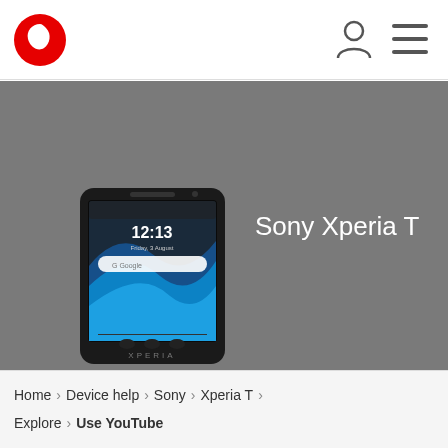Vodafone header with logo, user icon, and menu
Sony Xperia T
[Figure (photo): Sony Xperia T smartphone product photo on grey background]
Search in Xperia T topics
Home > Device help > Sony > Xperia T > Explore > Use YouTube